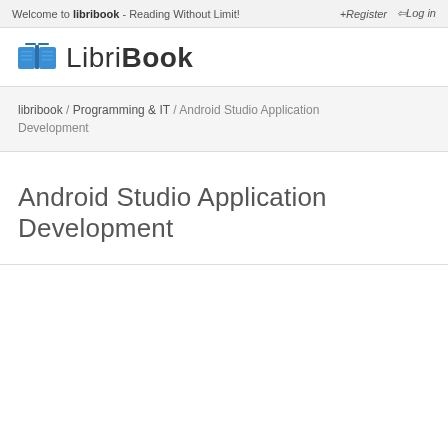Welcome to libribook - Reading Without Limit!  Register  Log in
[Figure (logo): LibriBook logo: blue open book icon followed by the text 'LibriBook' in gray/black sans-serif]
libribook / Programming & IT / Android Studio Application Development
Android Studio Application Development